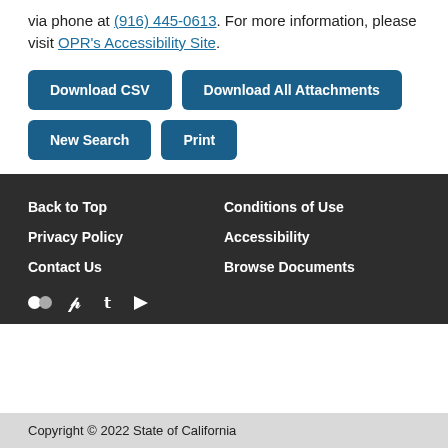via phone at (916) 445-0613. For more information, please visit OPR's Accessibility Site.
Download CSV
Download All Attachments
New Search
Print
Back to Top | Conditions of Use | Privacy Policy | Accessibility | Contact Us | Browse Documents
Copyright © 2022 State of California